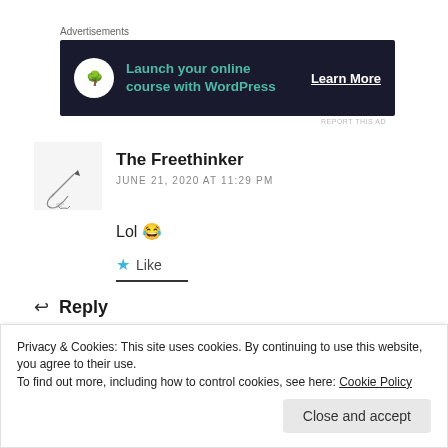Advertisements
[Figure (illustration): Dark navy advertisement banner: bonsai tree icon in white circle, teal text 'Launch your online course with WordPress', white underlined text 'Learn More']
REPORT THIS AD
The Freethinker
JUNE 21, 2020 AT 11:29 PM
Lol 😂
★ Like
↩ Reply
Privacy & Cookies: This site uses cookies. By continuing to use this website, you agree to their use.
To find out more, including how to control cookies, see here: Cookie Policy
Close and accept